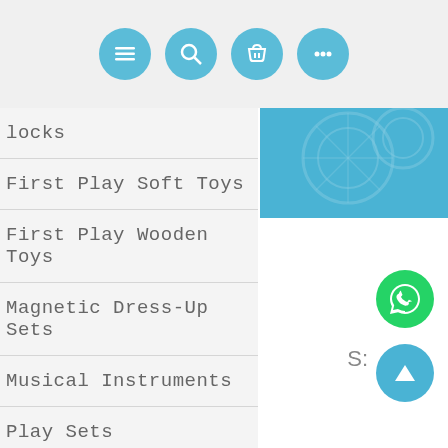Navigation icons: menu, search, basket, more
locks
First Play Soft Toys
First Play Wooden Toys
Magnetic Dress-Up Sets
Musical Instruments
Play Sets
Magnetic Activities
Smarty Pants
[Figure (screenshot): Blue banner with circular gear/wheel decorative graphics in white]
[Figure (logo): WhatsApp green circular button with phone/chat icon]
[Figure (other): Blue scroll-to-top circular button with upward triangle arrow]